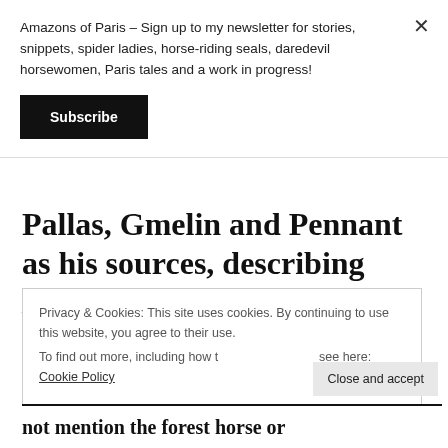Amazons of Paris – Sign up to my newsletter for stories, snippets, spider ladies, horse-riding seals, daredevil horsewomen, Paris tales and a work in progress!
Subscribe
Pallas, Gmelin and Pennant as his sources, describing Equus ferus as having a mouse-grey coat, a short, curly mane,
Privacy & Cookies: This site uses cookies. By continuing to use this website, you agree to their use.
To find out more, including how to control cookies, see here: Cookie Policy
Close and accept
not mention the forest horse or